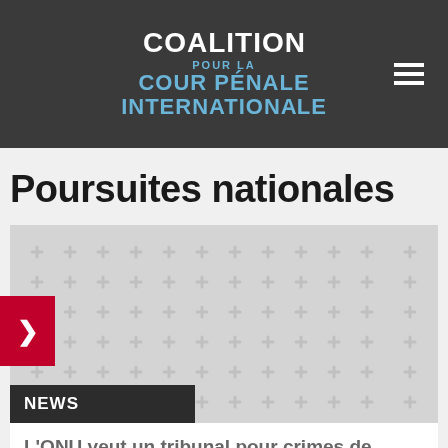COALITION POUR LA COUR PÉNALE INTERNATIONALE
Poursuites nationales
[Figure (illustration): Grey placeholder image with repeated plus/cross pattern in lighter grey, with a dark banner overlay at bottom-left reading NEWS]
NEWS
L'ONU veut un tribunal pour crimes de